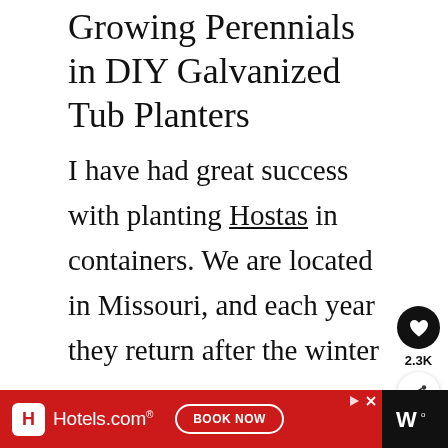Growing Perennials in DIY Galvanized Tub Planters
I have had great success with planting Hostas in containers. We are located in Missouri, and each year they return after the winter season.
[Figure (screenshot): Like button (heart icon) with count 2.3K and share button]
[Figure (screenshot): Hotels.com advertisement banner with BOOK NOW button and app icon on dark right side]